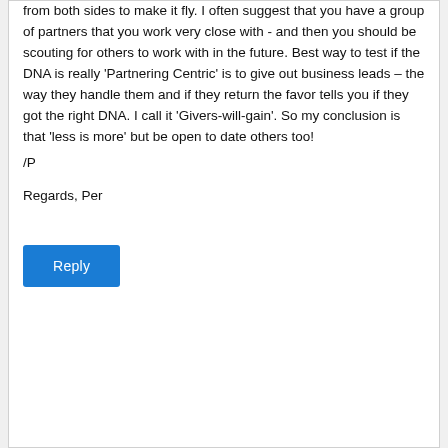from both sides to make it fly. I often suggest that you have a group of partners that you work very close with - and then you should be scouting for others to work with in the future. Best way to test if the DNA is really 'Partnering Centric' is to give out business leads – the way they handle them and if they return the favor tells you if they got the right DNA. I call it 'Givers-will-gain'. So my conclusion is that 'less is more' but be open to date others too!
/P
Regards, Per
[Figure (other): Blue 'Reply' button]